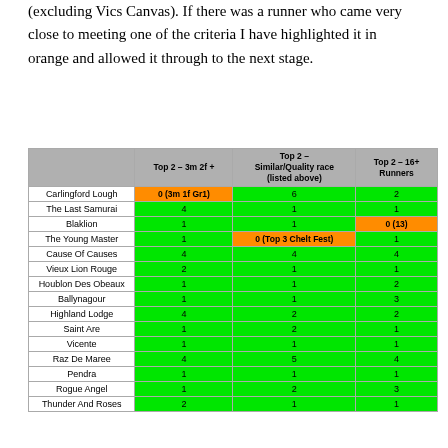(excluding Vics Canvas). If there was a runner who came very close to meeting one of the criteria I have highlighted it in orange and allowed it through to the next stage.
|  | Top 2 – 3m 2f + | Top 2 – Similar/Quality race (listed above) | Top 2 – 16+ Runners |
| --- | --- | --- | --- |
| Carlingford Lough | 0 (3m 1f Gr1) | 6 | 2 |
| The Last Samurai | 4 | 1 | 1 |
| Blaklion | 1 | 1 | 0 (13) |
| The Young Master | 1 | 0 (Top 3 Chelt Fest) | 1 |
| Cause Of Causes | 4 | 4 | 4 |
| Vieux Lion Rouge | 2 | 1 | 1 |
| Houblon Des Obeaux | 1 | 1 | 2 |
| Ballynagour | 1 | 1 | 3 |
| Highland Lodge | 4 | 2 | 2 |
| Saint Are | 1 | 2 | 1 |
| Vicente | 1 | 1 | 1 |
| Raz De Maree | 4 | 5 | 4 |
| Pendra | 1 | 1 | 1 |
| Rogue Angel | 1 | 2 | 3 |
| Thunder And Roses | 2 | 1 | 1 |